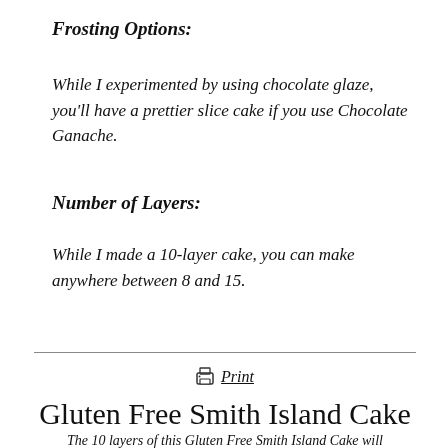Frosting Options:
While I experimented by using chocolate glaze, you'll have a prettier slice cake if you use Chocolate Ganache.
Number of Layers:
While I made a 10-layer cake, you can make anywhere between 8 and 15.
Print
Gluten Free Smith Island Cake
The 10 layers of this Gluten Free Smith Island Cake will